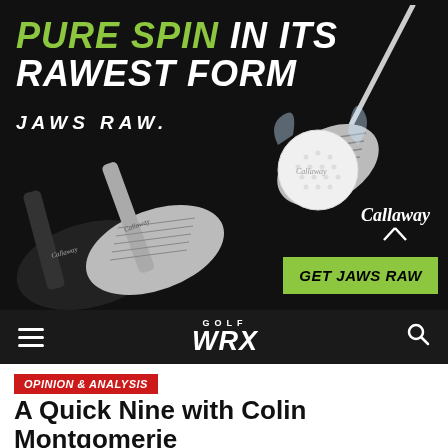[Figure (illustration): Callaway Jaws Raw advertisement banner showing two golf wedges on the left, a golf club striking a ball on the right, Callaway logo, green 'GET JAWS RAW' button, and text reading 'PURE SPIN IN ITS RAWEST FORM' and 'JAWS RAW']
GOLF WRX navigation bar with hamburger menu and search icon
OPINION & ANALYSIS
A Quick Nine with Colin Montgomerie
Published 5 years ago on Feb 22, 2017
By Michael Williams